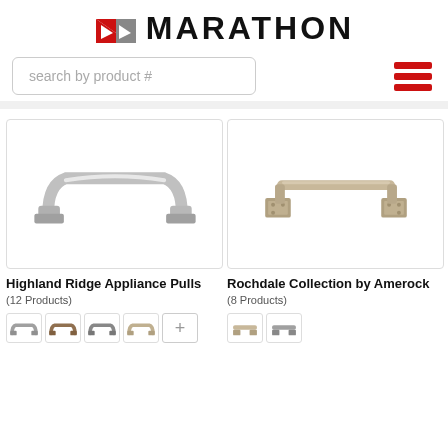MARATHON
search by product #
[Figure (illustration): Highland Ridge Appliance Pull - polished nickel cabinet pull handle on white background]
Highland Ridge Appliance Pulls
(12 Products)
[Figure (illustration): Rochdale Collection by Amerock - satin nickel bar pull handle with square base plates on white background]
Rochdale Collection by Amerock
(8 Products)
[Figure (illustration): Thumbnail swatches of Highland Ridge pull variants plus a + more button]
[Figure (illustration): Thumbnail swatches of Rochdale pull variants]